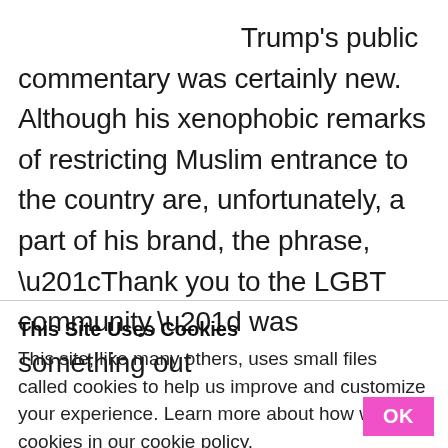Trump's public commentary was certainly new. Although his xenophobic remarks of restricting Muslim entrance to the country are, unfortunately, a part of his brand, the phrase, “Thank you to the LGBT community,” was something out
This Site Uses Cookies
This site, like many others, uses small files called cookies to help us improve and customize your experience. Learn more about how we use cookies in our cookie policy.